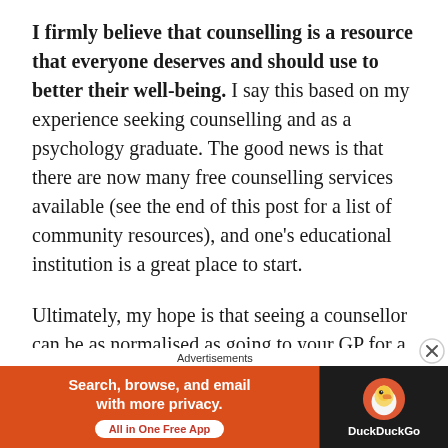I firmly believe that counselling is a resource that everyone deserves and should use to better their well-being. I say this based on my experience seeking counselling and as a psychology graduate. The good news is that there are now many free counselling services available (see the end of this post for a list of community resources), and one's educational institution is a great place to start.
Ultimately, my hope is that seeing a counsellor can be as normalised as going to your GP for a physical ailment. Fortunately, with mental health awareness steadily increasing in Singapore, that doesn't seem
Advertisements
[Figure (other): DuckDuckGo advertisement banner with orange background on left reading 'Search, browse, and email with more privacy. All in One Free App' and DuckDuckGo logo on dark right panel.]